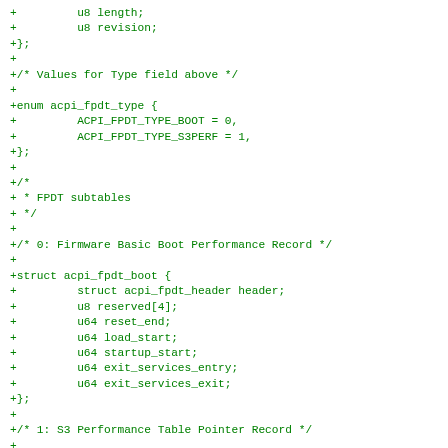+         u8 length;
+         u8 revision;
+};
+
+/* Values for Type field above */
+
+enum acpi_fpdt_type {
+         ACPI_FPDT_TYPE_BOOT = 0,
+         ACPI_FPDT_TYPE_S3PERF = 1,
+};
+
+/*
+ * FPDT subtables
+ */
+
+/* 0: Firmware Basic Boot Performance Record */
+
+struct acpi_fpdt_boot {
+         struct acpi_fpdt_header header;
+         u8 reserved[4];
+         u64 reset_end;
+         u64 load_start;
+         u64 startup_start;
+         u64 exit_services_entry;
+         u64 exit_services_exit;
+};
+
+/* 1: S3 Performance Table Pointer Record */
+
+struct acpi_fpdt_s3pt_ptr {